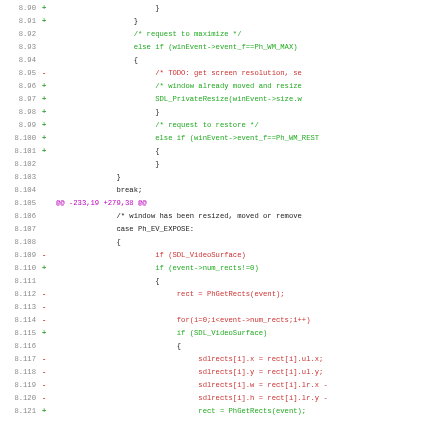Code diff snippet showing SDL/Photon window event handling changes, lines 8.90 to 8.121